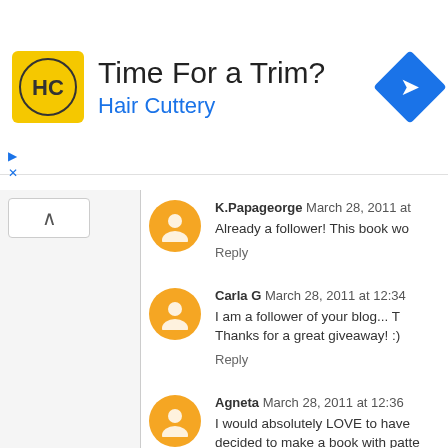[Figure (other): Advertisement banner for Hair Cuttery with logo, text 'Time For a Trim?' and 'Hair Cuttery', and a blue diamond-shaped navigation icon on the right.]
K.Papageorge March 28, 2011 at
Already a follower! This book wo
Reply
Carla G March 28, 2011 at 12:34
I am a follower of your blog... T Thanks for a great giveaway! :)
Reply
Agneta March 28, 2011 at 12:36
I would absolutely LOVE to have decided to make a book with patte